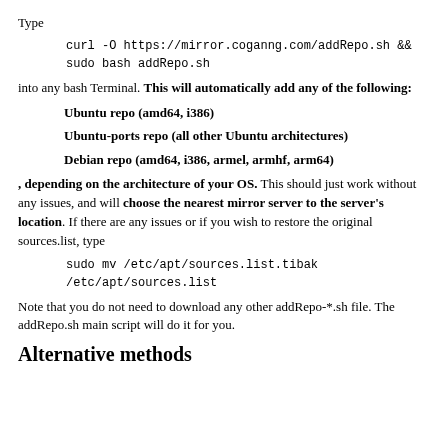Type
curl -O https://mirror.coganng.com/addRepo.sh &&
sudo bash addRepo.sh
into any bash Terminal. This will automatically add any of the following:
Ubuntu repo (amd64, i386)
Ubuntu-ports repo (all other Ubuntu architectures)
Debian repo (amd64, i386, armel, armhf, arm64)
, depending on the architecture of your OS. This should just work without any issues, and will choose the nearest mirror server to the server's location. If there are any issues or if you wish to restore the original sources.list, type
sudo mv /etc/apt/sources.list.tibak /etc/apt/sources.list
Note that you do not need to download any other addRepo-*.sh file. The addRepo.sh main script will do it for you.
Alternative methods